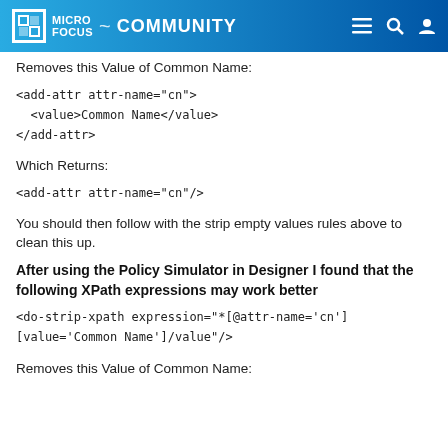MICRO FOCUS COMMUNITY
Removes this Value of Common Name:
<add-attr attr-name="cn">
  <value>Common Name</value>
</add-attr>
Which Returns:
<add-attr attr-name="cn"/>
You should then follow with the strip empty values rules above to clean this up.
After using the Policy Simulator in Designer I found that the following XPath expressions may work better
<do-strip-xpath expression="*[@attr-name='cn'][value='Common Name']/value"/>
Removes this Value of Common Name: